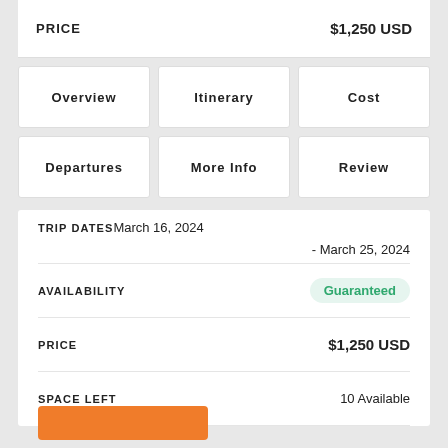PRICE   $1,250 USD
Overview
Itinerary
Cost
Departures
More Info
Review
TRIP DATES March 16, 2024 - March 25, 2024
AVAILABILITY  Guaranteed
PRICE  $1,250 USD
SPACE LEFT  10 Available